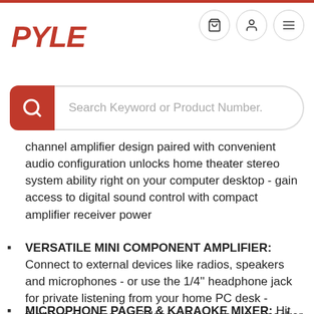PYLE
[Figure (screenshot): Search bar with red search icon and placeholder text 'Search Keyword or Product Number.']
channel amplifier design paired with convenient audio configuration unlocks home theater stereo system ability right on your computer desktop - gain access to digital sound control with compact amplifier receiver power
VERSATILE MINI COMPONENT AMPLIFIER: Connect to external devices like radios, speakers and microphones - or use the 1/4'' headphone jack for private listening from your home PC desk - features rear panel quick connect push-type speaker terminals
MICROPHONE PAGER & KARAOKE MIXER: Hit the switch to select the desired